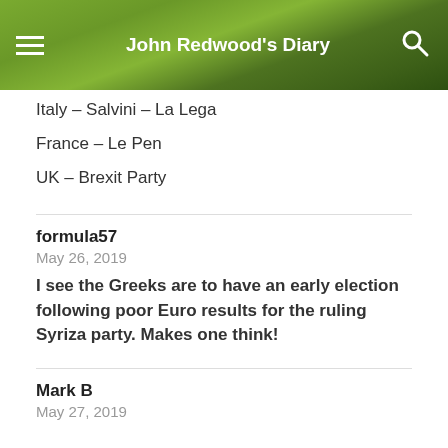John Redwood's Diary
Italy – Salvini – La Lega
France – Le Pen
UK – Brexit Party
formula57
May 26, 2019
I see the Greeks are to have an early election following poor Euro results for the ruling Syriza party. Makes one think!
Mark B
May 27, 2019